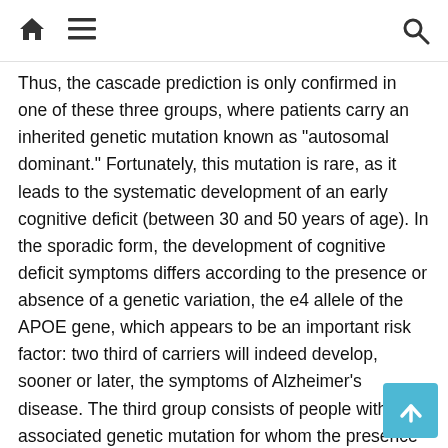Home | Menu | Search
Thus, the cascade prediction is only confirmed in one of these three groups, where patients carry an inherited genetic mutation known as “autosomal dominant.” Fortunately, this mutation is rare, as it leads to the systematic development of an early cognitive deficit (between 30 and 50 years of age). In the sporadic form, the development of cognitive deficit symptoms differs according to the presence or absence of a genetic variation, the e4 allele of the APOE gene, which appears to be an important risk factor: two third of carriers will indeed develop, sooner or later, the symptoms of Alzheimer’s disease. The third group consists of people without associated genetic mutation for whom the presence of neurotoxic proteins appears to be an important but not unique risk factor. “Half of our patients belong to this third group,” emphasizes Giovanni Frisoni. “Our probabilistic model therefore suggests that all genetic and environmental risk factors should be considered. Cognitive impairment develops when their weight overcomes the resilience of the brain, which is itself